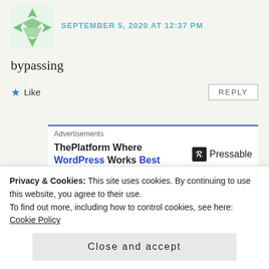SEPTEMBER 5, 2020 AT 12:37 PM
bypassing
★ Like
REPLY
Advertisements
ThePlatform Where WordPress Works Best — Pressable
rich
Privacy & Cookies: This site uses cookies. By continuing to use this website, you agree to their use.
To find out more, including how to control cookies, see here: Cookie Policy
Close and accept
REPLY